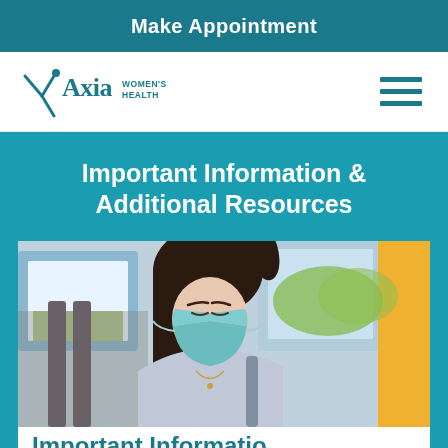Make Appointment
[Figure (logo): Axia Women's Health logo with stylized figure icon]
Important Information & Additional Resources
[Figure (photo): Young woman wearing a teal/blue surgical face mask sitting on a bus, looking down, with bus windows and a yellow pole visible in the background]
Important Informatio…